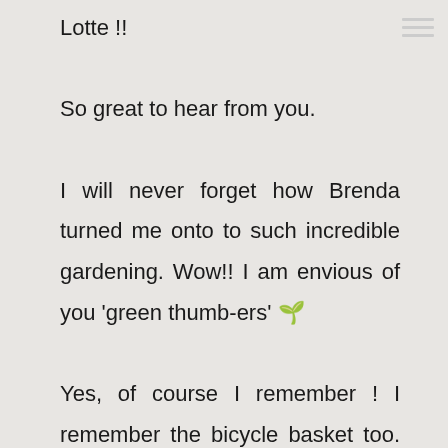Lotte !!

So great to hear from you.

I will never forget how Brenda turned me onto to such incredible gardening. Wow!! I am envious of you 'green thumb-ers' 🌱

Yes, of course I remember ! I remember the bicycle basket too. We bought that when we traveled to